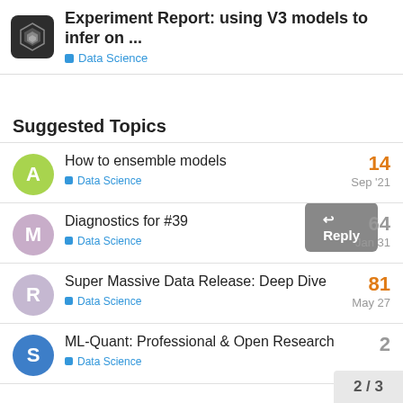Experiment Report: using V3 models to infer on ...
Suggested Topics
How to ensemble models — Data Science — 14 — Sep '21
Diagnostics for #39 — Data Science — 64 — Jan 31
Super Massive Data Release: Deep Dive — Data Science — 81 — May 27
ML-Quant: Professional & Open Research — Data Science — 2
2 / 3